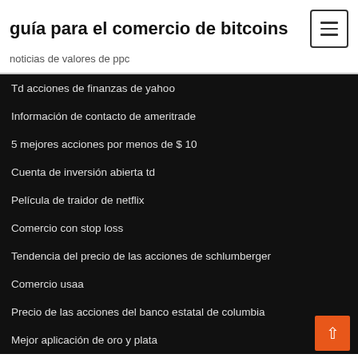guía para el comercio de bitcoins
noticias de valores de ppc
Td acciones de finanzas de yahoo
Información de contacto de ameritrade
5 mejores acciones por menos de $ 10
Cuenta de inversión abierta td
Película de traidor de netflix
Comercio con stop loss
Tendencia del precio de las acciones de schlumberger
Comercio usaa
Precio de las acciones del banco estatal de columbia
Mejor aplicación de oro y plata